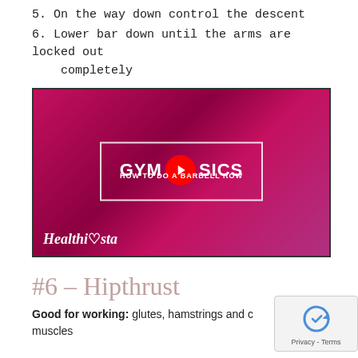5. On the way down control the descent
6. Lower bar down until the arms are locked out completely
[Figure (screenshot): YouTube video thumbnail for GYMBASICS 'HOW TO DO A BARBELL ROW' by Healthista, showing a person performing a barbell row in a gym with pink overlay and YouTube play button]
#6 – Hipthrust
Good for working: glutes, hamstrings and core muscles